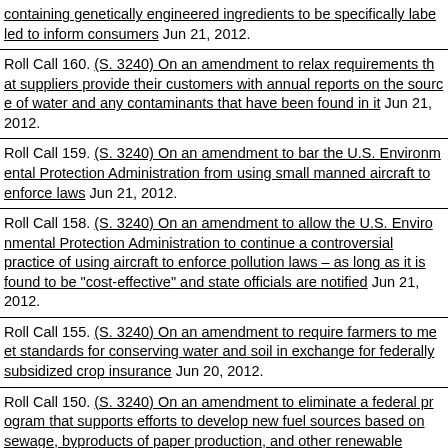containing genetically engineered ingredients to be specifically labeled to inform consumers Jun 21, 2012.
Roll Call 160. (S. 3240) On an amendment to relax requirements that suppliers provide their customers with annual reports on the source of water and any contaminants that have been found in it Jun 21, 2012.
Roll Call 159. (S. 3240) On an amendment to bar the U.S. Environmental Protection Administration from using small manned aircraft to enforce laws Jun 21, 2012.
Roll Call 158. (S. 3240) On an amendment to allow the U.S. Environmental Protection Administration to continue a controversial practice of using aircraft to enforce pollution laws – as long as it is found to be "cost-effective" and state officials are notified Jun 21, 2012.
Roll Call 155. (S. 3240) On an amendment to require farmers to meet standards for conserving water and soil in exchange for federally subsidized crop insurance Jun 20, 2012.
Roll Call 150. (S. 3240) On an amendment to eliminate a federal program that supports efforts to develop new fuel sources based on sewage, byproducts of paper production, and other renewable materials Jun 20, 2012.
Roll Call 143. (S. 3240) On an amendment to bar federal conservation...